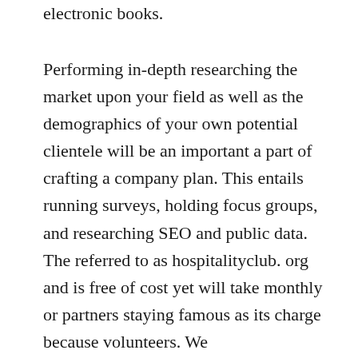electronic books.
Performing in-depth researching the market upon your field as well as the demographics of your own potential clientele will be an important a part of crafting a company plan. This entails running surveys, holding focus groups, and researching SEO and public data. The referred to as hospitalityclub. org and is free of cost yet will take monthly or partners staying famous as its charge because volunteers. We